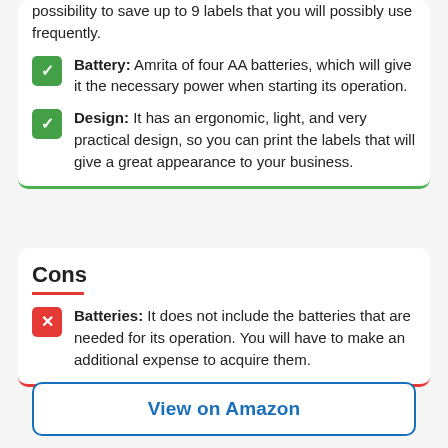possibility to save up to 9 labels that you will possibly use frequently.
Battery: Amrita of four AA batteries, which will give it the necessary power when starting its operation.
Design: It has an ergonomic, light, and very practical design, so you can print the labels that will give a great appearance to your business.
Cons
Batteries: It does not include the batteries that are needed for its operation. You will have to make an additional expense to acquire them.
View on Amazon